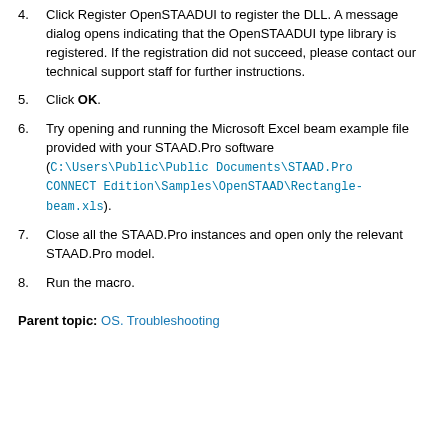4. Click Register OpenSTAADUI to register the DLL. A message dialog opens indicating that the OpenSTAADUI type library is registered. If the registration did not succeed, please contact our technical support staff for further instructions.
5. Click OK.
6. Try opening and running the Microsoft Excel beam example file provided with your STAAD.Pro software (C:\Users\Public\Public Documents\STAAD.Pro CONNECT Edition\Samples\OpenSTAAD\Rectangle-beam.xls).
7. Close all the STAAD.Pro instances and open only the relevant STAAD.Pro model.
8. Run the macro.
Parent topic: OS. Troubleshooting